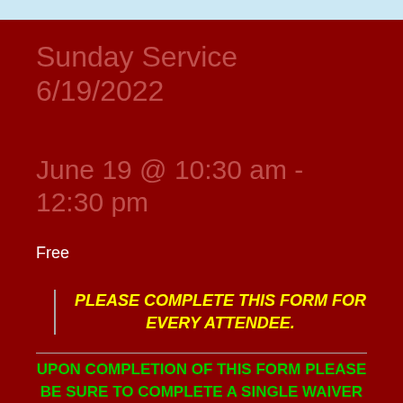Sunday Service 6/19/2022
June 19 @ 10:30 am - 12:30 pm
Free
PLEASE COMPLETE THIS FORM FOR EVERY ATTENDEE.
UPON COMPLETION OF THIS FORM PLEASE BE SURE TO COMPLETE A SINGLE WAIVER FOR YOUR FAMILY